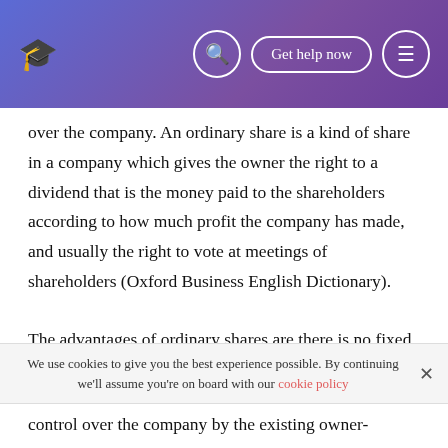Get help now
over the company. An ordinary share is a kind of share in a company which gives the owner the right to a dividend that is the money paid to the shareholders according to how much profit the company has made, and usually the right to vote at meetings of shareholders (Oxford Business English Dictionary).
The advantages of ordinary shares are there is no fixed charge attached to them. It can also be sold more easily than debentures because it offers a higher expected return then debentures or preference shares and provides a better hedge against inflation. Disadvantages are which it extends
We use cookies to give you the best experience possible. By continuing we'll assume you're on board with our cookie policy
control over the company by the existing owner-managers